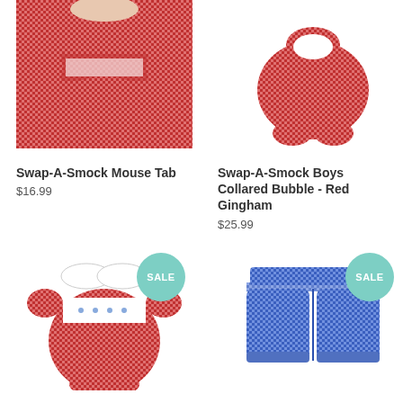[Figure (photo): Red gingham fabric clothing item - Swap-A-Smock Mouse Tab, top half visible]
Swap-A-Smock Mouse Tab
$16.99
[Figure (photo): Red gingham boys collared bubble outfit on white background]
Swap-A-Smock Boys Collared Bubble - Red Gingham
$25.99
[Figure (photo): Red gingham girls collared bubble romper with white smocking panel, SALE badge]
[Figure (photo): Navy blue gingham boys shorts, SALE badge]
Swap-A-Smock Girls Collared Bubble - Red
Boys Shorts - Navy Gingham